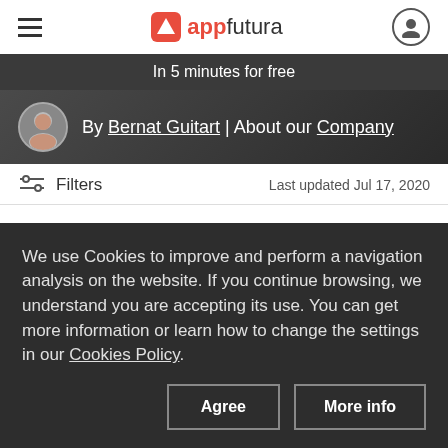appfutura — navigation bar with hamburger menu, logo, and user icon
In 5 minutes for free
By Bernat Guitart | About our Company
Filters   Last updated Jul 17, 2020
Top Digital Marketing Companies in Chicago – 2020 Reviews
We use Cookies to improve and perform a navigation analysis on the website. If you continue browsing, we understand you are accepting its use. You can get more information or learn how to change the settings in our Cookies Policy.
Agree   More info